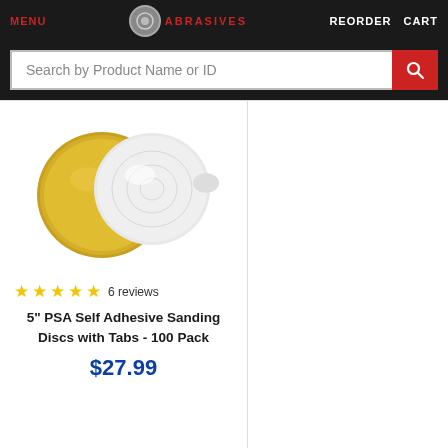MENU  ABRASIVES  REORDER  CART
Search by Product Name or ID
[Figure (photo): Two sanding discs: one gold/yellow PSA disc and one white disc with tab, shown side by side on white background]
★★★★★ 6 reviews
5" PSA Self Adhesive Sanding Discs with Tabs - 100 Pack
$27.99